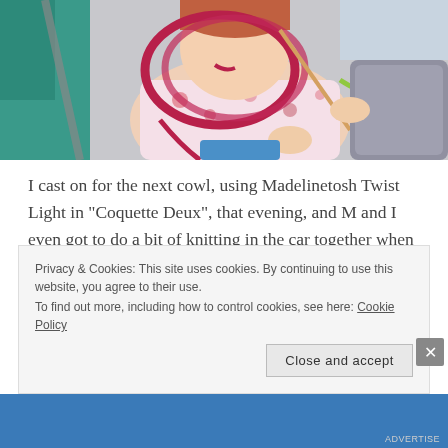[Figure (photo): A young girl in a car seat knitting with pink/magenta yarn, wearing a floral top. An adult in teal is beside her. The girl appears to be biting or holding yarn in her mouth while working on a large looped knitting project.]
I cast on for the next cowl, using Madelinetosh Twist Light in “Coquette Deux”, that evening, and M and I even got to do a bit of knitting in the car together when we drove down to my old hometown of Winona, MN, and stopped in at Yarnology, where I got to see one of my dearest high school friends
Privacy & Cookies: This site uses cookies. By continuing to use this website, you agree to their use.
To find out more, including how to control cookies, see here: Cookie Policy
Close and accept